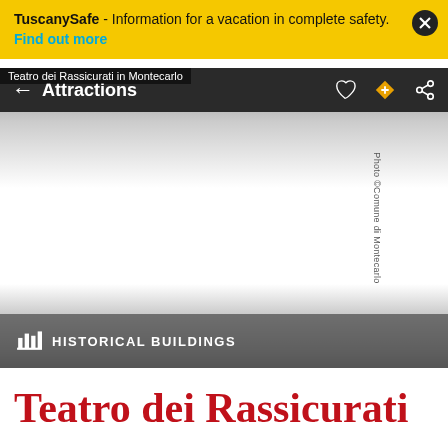TuscanySafe - Information for a vacation in complete safety. Find out more
Attractions
[Figure (photo): Photo of Teatro dei Rassicurati in Montecarlo, faded/partially loaded image with gradient. Photo ©Comune di Montecarlo. Category label: HISTORICAL BUILDINGS.]
Teatro dei Rassicurati